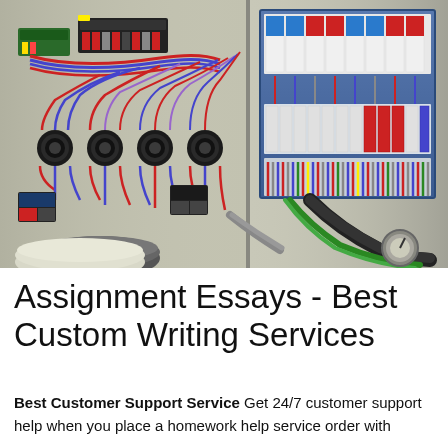[Figure (photo): Open electrical control cabinet showing wiring, circuit breakers, terminal blocks, DIN rail mounted components on left panel and blue sub-panel on right with multiple circuit breakers and wiring looms. Various colored wires (red, blue, black) are visible.]
Assignment Essays - Best Custom Writing Services
Best Customer Support Service Get 24/7 customer support help when you place a homework help service order with